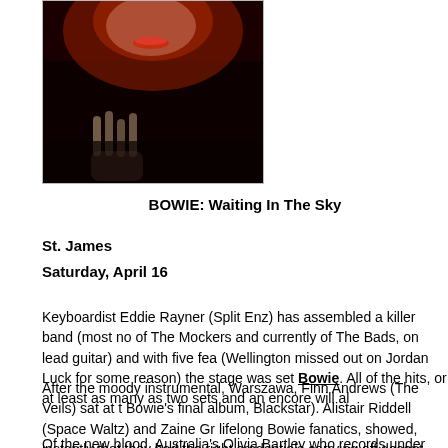[Figure (photo): Partial photo of a performer on stage with dark reddish background, showing lower face/mouth and hands]
BOWIE: Waiting In The Sky
St. James
Saturday, April 16
Keyboardist Eddie Rayner (Split Enz) has assembled a killer band (most notably of The Mockers and currently of The Bads, on lead guitar) and with five fea (Wellington missed out on Jordan Luck for some reason) the stage was set for Bowie. All of the hits, or at least as many as two sets and an encore will al
After the moody instrumental, Warszawa, Finn Andrews (The Veils) sat at the piano performing songs from Bowie's final album, Blackstar). Alistair Riddell (Space Waltz) and Zaine Griff, both lifelong Bowie fanatics, showed, instantly that they had the right credentials carrying off decent renditions of Space Oddity and Jean Genie respectively
Of the new blood, Australia's Olivia Bartley who records under the moniker